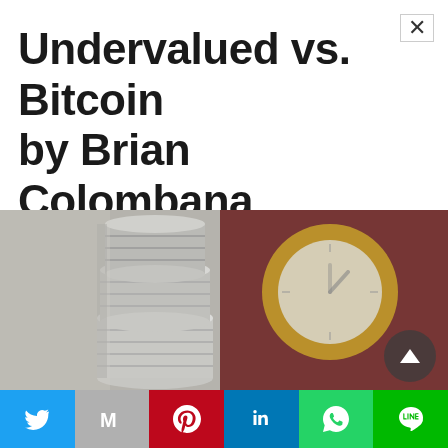Undervalued vs. Bitcoin by Brian Colombana
[Figure (photo): Stack of silver coins in foreground with blurred clock and dark red background]
[Figure (infographic): Social sharing bar with Twitter, Gmail, Pinterest, LinkedIn, WhatsApp, and LINE icons]